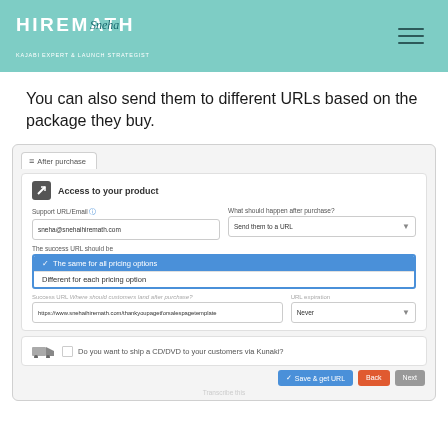[Figure (screenshot): HireMath logo header with teal background and hamburger menu icon]
You can also send them to different URLs based on the package they buy.
[Figure (screenshot): Kajabi After Purchase settings screenshot showing Access to your product, Support URL/Email field with sneha@snehaihiremath.com, What should happen after purchase dropdown set to Send them to a URL, The success URL should be dropdown with options: The same for all pricing options (selected/highlighted in blue) and Different for each pricing option, Success URL field with https://www.snehaihiremath.com/thankyoupagetforsalespagetemplate, URL expiration set to Never, and a ship CD/DVD section with Kunaki option, plus Save & get URL, Back, and Next buttons.]